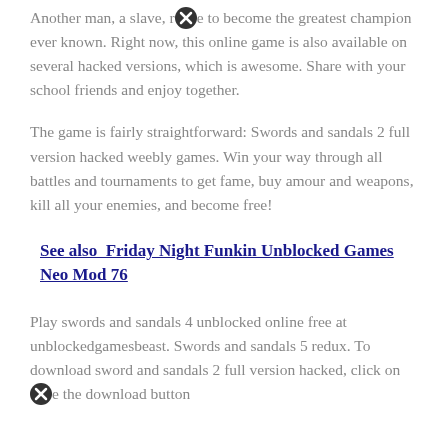Another man, a slave, rose to become the greatest champion ever known. Right now, this online game is also available on several hacked versions, which is awesome. Share with your school friends and enjoy together.
The game is fairly straightforward: Swords and sandals 2 full version hacked weebly games. Win your way through all battles and tournaments to get fame, buy amour and weapons, kill all your enemies, and become free!
See also  Friday Night Funkin Unblocked Games Neo Mod 76
Play swords and sandals 4 unblocked online free at unblockedgamesbeast. Swords and sandals 5 redux. To download sword and sandals 2 full version hacked, click on the download button